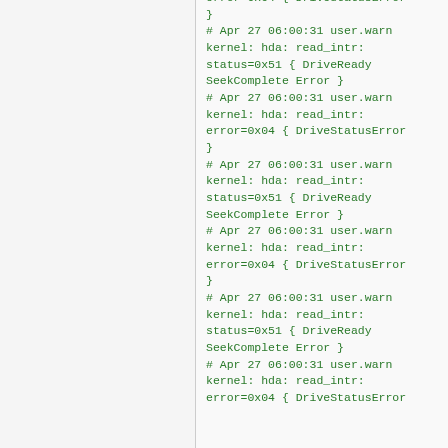error=0x04 { DriveStatusError
}
# Apr 27 06:00:31 user.warn kernel: hda: read_intr: status=0x51 { DriveReady SeekComplete Error }
# Apr 27 06:00:31 user.warn kernel: hda: read_intr: error=0x04 { DriveStatusError
}
# Apr 27 06:00:31 user.warn kernel: hda: read_intr: status=0x51 { DriveReady SeekComplete Error }
# Apr 27 06:00:31 user.warn kernel: hda: read_intr: error=0x04 { DriveStatusError
}
# Apr 27 06:00:31 user.warn kernel: hda: read_intr: status=0x51 { DriveReady SeekComplete Error }
# Apr 27 06:00:31 user.warn kernel: hda: read_intr: error=0x04 { DriveStatusError